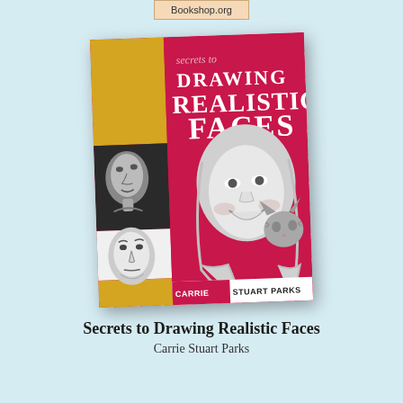Bookshop.org
[Figure (illustration): Book cover of 'Secrets to Drawing Realistic Faces' by Carrie Stuart Parks. Cover features a crimson/magenta background with large white text. Left side has yellow and dark panels with black-and-white pencil drawings of a child's face and a man's face. Right side shows a detailed pencil drawing of a smiling woman with a cat. Author name 'CARRIE STUART PARKS' appears at the bottom.]
Secrets to Drawing Realistic Faces
Carrie Stuart Parks
Add to Cart